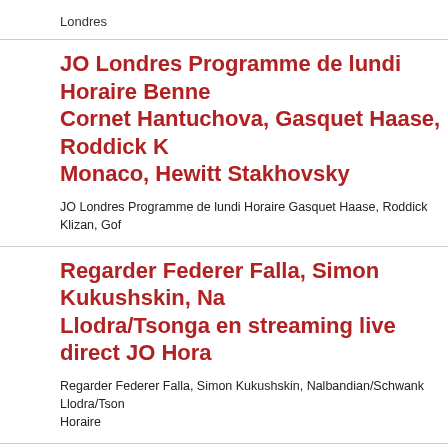Londres
JO Londres Programme de lundi Horaire Benneteau Cornet Hantuchova, Gasquet Haase, Roddick K Monaco, Hewitt Stakhovsky
JO Londres Programme de lundi Horaire Gasquet Haase, Roddick Klizan, Gof
Regarder Federer Falla, Simon Kukushskin, Na Llodra/Tsonga en streaming live direct JO Hora
Regarder Federer Falla, Simon Kukushskin, Nalbandian/Schwank Llodra/Tsonga Horaire
JO Tennis Programme de samedi Federer Falla, Benneteau Youhny, Dodig Del Porto, Nalbandia Llodra/Tsonga Simple et double